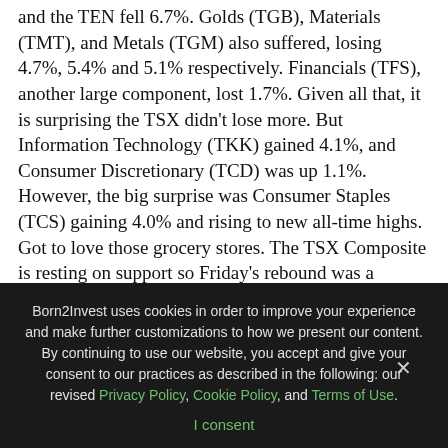and the TEN fell 6.7%. Golds (TGB), Materials (TMT), and Metals (TGM) also suffered, losing 4.7%, 5.4% and 5.1% respectively. Financials (TFS), another large component, lost 1.7%. Given all that, it is surprising the TSX didn't lose more. But Information Technology (TKK) gained 4.1%, and Consumer Discretionary (TCD) was up 1.1%. However, the big surprise was Consumer Staples (TCS) gaining 4.0% and rising to new all-time highs. Got to love those grocery stores. The TSX Composite is resting on support so Friday's rebound was a welcome respite. A bounce could be in the offing but resistance comes in at 16,350–16,400. The TSX has fallen to test its 100- and 200-day MAs so a breakdown now below 15,725, the recent low, could prove dangerous. Right now, the best strategy appears to be to stick with
Born2Invest uses cookies in order to improve your experience and make further customizations to how we present our content. By continuing to use our website, you accept and give your consent to our practices as described in the following: our revised Privacy Policy, Cookie Policy, and Terms of Use.
I consent